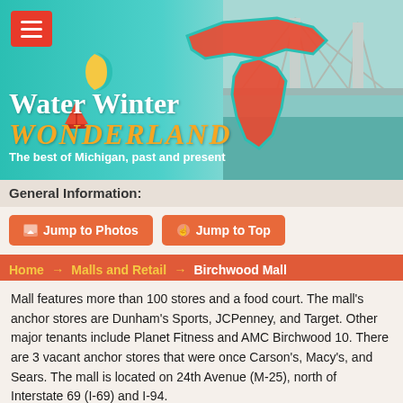[Figure (illustration): Water Winter Wonderland website header banner featuring Michigan state map in red/orange on teal background, crescent moon icon, sailboat graphic, and bridge photo on right side]
General Information:
Jump to Photos    Jump to Top
Home → Malls and Retail → Birchwood Mall
Mall features more than 100 stores and a food court. The mall's anchor stores are Dunham's Sports, JCPenney, and Target. Other major tenants include Planet Fitness and AMC Birchwood 10. There are 3 vacant anchor stores that were once Carson's, Macy's, and Sears. The mall is located on 24th Avenue (M-25), north of Interstate 69 (I-69) and I-94.
Birchwood Mall opened in April 1991, with Target, Sears, JCPenney, and Wisconsin-based department store chain Prange's as its anchor stores. Upon opening, the mall attracted Canadian shoppers, who crossed over from Sarnia, Ontario on the Blue Water Bridge.